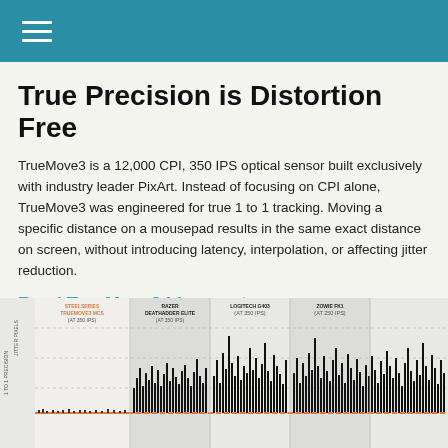≡ (hamburger menu)
True Precision is Distortion Free
TrueMove3 is a 12,000 CPI, 350 IPS optical sensor built exclusively with industry leader PixArt. Instead of focusing on CPI alone, TrueMove3 was engineered for true 1 to 1 tracking. Moving a specific distance on a mousepad results in the same exact distance on screen, without introducing latency, interpolation, or affecting jitter reduction.
Read TrueMove3 blog post
[Figure (bar-chart): Comparison chart showing 1 to 1 precision vs jitter/deviation across four mice: SteelSeries TrueMove3 MCS (at 350 IPS), Razer DeathAdder Elite (at 350 IPS), Logitech G403 (at 350 IPS), Zowie FK1 (at 250 IPS). The TrueMove3 shows a flat orange line at 1-to-1 precision while others show tall black spikes indicating jitter.]